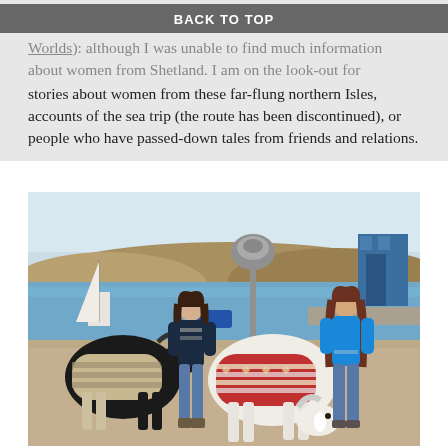Worlds) although I was unable to find much information about women from Shetland. I am on the look-out for stories about women from these far-flung northern Isles, accounts of the sea trip (the route has been discontinued), or people who have passed-down tales from friends and relations.
BACK TO TOP
[Figure (photo): Two young women standing at a harbour/pier with two Shetland ponies wearing knitted Fair Isle sweaters. The background shows the sea, moored boats, rolling hills, and a blue building. One pony is black wearing a beige patterned sweater, the other is white wearing a red patterned sweater. One woman wears a dark Nordic sweater, the other wears a bright blue top. A pole with a megaphone/loudspeaker stands between them.]